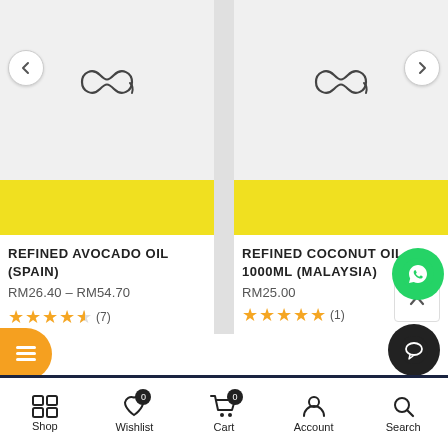[Figure (screenshot): Product card image area for Refined Avocado Oil with infinity logo placeholder and yellow banner, navigation arrows]
REFINED AVOCADO OIL (SPAIN)
RM26.40 – RM54.70
★★★★★ (7) 4.5 stars
[Figure (screenshot): Product card image area for Refined Coconut Oil 1000ml with infinity logo placeholder and yellow banner, navigation arrows]
REFINED COCONUT OIL - 1000ML (MALAYSIA)
RM25.00
★★★★★ (1) 5 stars
[Figure (logo): WhatsApp green circle button]
[Figure (other): Orange floating menu button]
[Figure (other): Dark chat circle button]
[Figure (other): Scroll to top button]
Shop  Wishlist 0  Cart 0  Account  Search